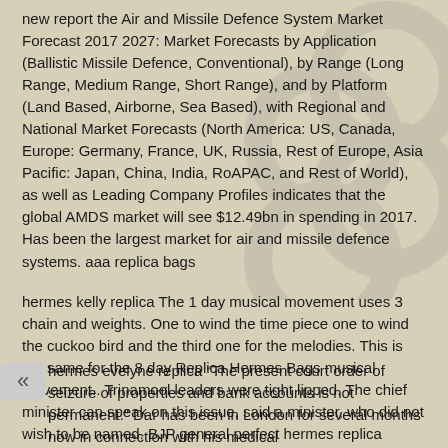new report the Air and Missile Defence System Market Forecast 2017 2027: Market Forecasts by Application (Ballistic Missile Defence, Conventional), by Range (Long Range, Medium Range, Short Range), and by Platform (Land Based, Airborne, Sea Based), with Regional and National Market Forecasts (North America: US, Canada, Europe: Germany, France, UK, Russia, Rest of Europe, Asia Pacific: Japan, China, India, RoAPAC, and Rest of World), as well as Leading Company Profiles indicates that the global AMDS market will see $12.49bn in spending in 2017. Has been the largest market for air and missile defence systems. aaa replica bags
hermes kelly replica The 1 day musical movement uses 3 chain and weights. One to wind the time piece one to wind the cuckoo bird and the third one for the melodies. This is the same for the 8 day Replica Hermes Bags musical movement.. Trinamool leaders were tight lipped. The chief minister can speak on this issue, said a minister, who did not wish to be named. BJP general perfect hermes replica secretary in West Bengal, Sayantan Basu said that if the police officers have nothing to hide, they should not avoid interrogation. hermes kelly replica
hermes evelyne replica “The present court order of seizure of properties and bank accounts is not permanent.” Dar has been in London for several months now in connection with his medical